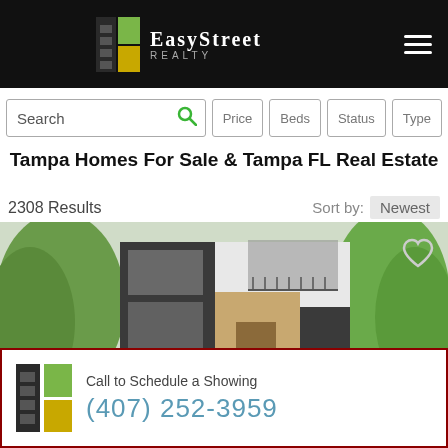[Figure (logo): EasyStreet Realty logo with building icon on black header bar with hamburger menu]
[Figure (screenshot): Search bar with Price, Beds, Status, Type filter buttons]
Tampa Homes For Sale & Tampa FL Real Estate
2308 Results   Sort by: Newest
[Figure (photo): Modern two-story house for sale with dark exterior panels, large windows, and lush green trees]
Call to Schedule a Showing
(407) 252-3959